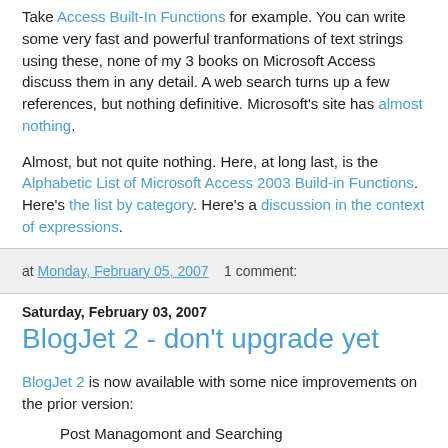Take Access Built-In Functions for example. You can write some very fast and powerful tranformations of text strings using these, none of my 3 books on Microsoft Access discuss them in any detail. A web search turns up a few references, but nothing definitive. Microsoft's site has almost nothing.
Almost, but not quite nothing. Here, at long last, is the Alphabetic List of Microsoft Access 2003 Build-in Functions. Here's the list by category. Here's a discussion in the context of expressions.
at Monday, February 05, 2007   1 comment:
Saturday, February 03, 2007
BlogJet 2 - don't upgrade yet
BlogJet 2 is now available with some nice improvements on the prior version:
Post Managomont and Searching